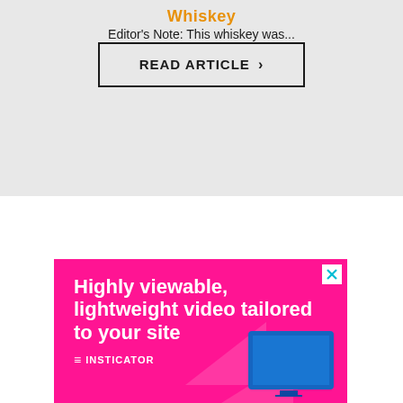Whiskey
Editor's Note: This whiskey was...
READ ARTICLE >
[Figure (other): Advertisement banner with pink/magenta background showing text 'Highly viewable, lightweight video tailored to your site' with INSTICATOR logo and a device graphic]
Highly viewable, lightweight video tailored to your site